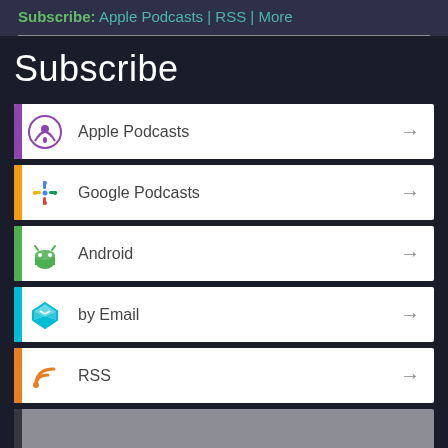Subscribe: Apple Podcasts | RSS | More
Subscribe
Apple Podcasts
Google Podcasts
Android
by Email
RSS